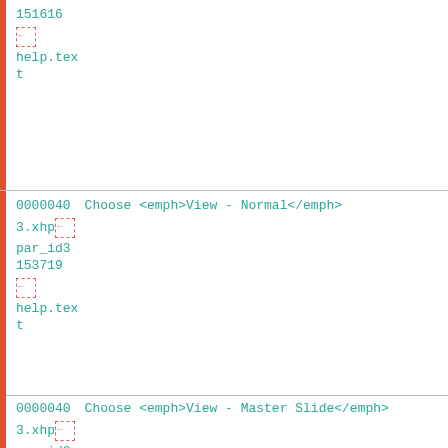151616
[icon]
help.text
00000403.xhp
par_id3153719
[icon]
help.text
Choose <emph>View - Normal</emph>
00000403.xhp
par_id3151264
[icon]
help.text
Choose <emph>View - Master Slide</emph>